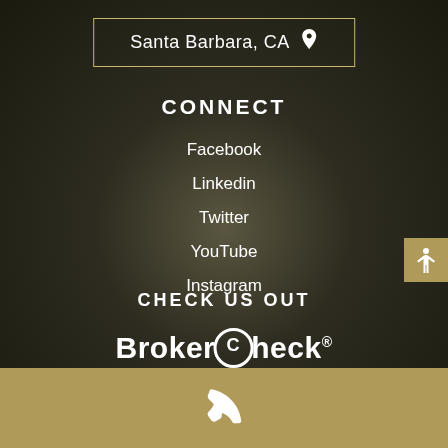Santa Barbara, CA
CONNECT
Facebook
Linkedin
Twitter
YouTube
Instagram
CHECK US OUT
BrokerCheck®
[Figure (other): Accessibility icon button with person figure on gold background]
[Figure (other): Phone/call icon in white on gold footer bar]